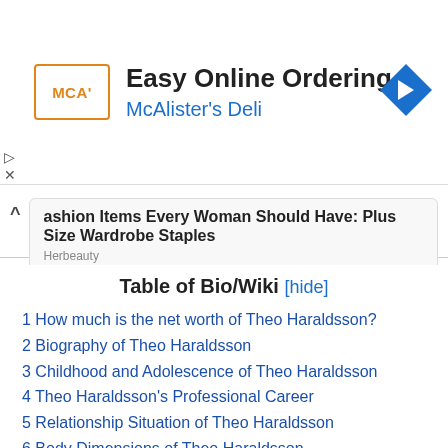[Figure (other): McAlister's Deli advertisement banner with logo, 'Easy Online Ordering' heading, brand name, and navigation arrow icon]
▷
✕
^ ashion Items Every Woman Should Have: Plus Size Wardrobe Staples
Herbeauty
Table of Bio/Wiki [hide]
1 How much is the net worth of Theo Haraldsson?
2 Biography of Theo Haraldsson
3 Childhood and Adolescence of Theo Haraldsson
4 Theo Haraldsson's Professional Career
5 Relationship Situation of Theo Haraldsson
6 Body Dimensions of Theo Haraldsson
7 Social Media of Theo Haraldsson
8 Quick facts: